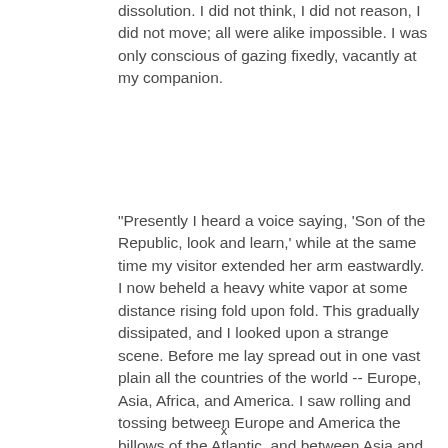dissolution. I did not think, I did not reason, I did not move; all were alike impossible. I was only conscious of gazing fixedly, vacantly at my companion.
"Presently I heard a voice saying, 'Son of the Republic, look and learn,' while at the same time my visitor extended her arm eastwardly. I now beheld a heavy white vapor at some distance rising fold upon fold. This gradually dissipated, and I looked upon a strange scene. Before me lay spread out in one vast plain all the countries of the world -- Europe, Asia, Africa, and America. I saw rolling and tossing between Europe and America the billows of the Atlantic, and between Asia and America lay the Pacific. 'Son of the Republic,' said the same mysterious voice as
x